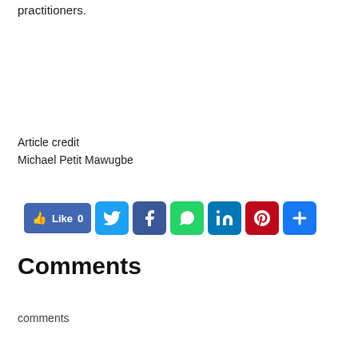practitioners.
Article credit
Michael Petit Mawugbe
[Figure (infographic): Social share bar with Facebook Like (0), Twitter, Facebook, WhatsApp, LinkedIn, Pinterest, and More (+) buttons]
Comments
comments